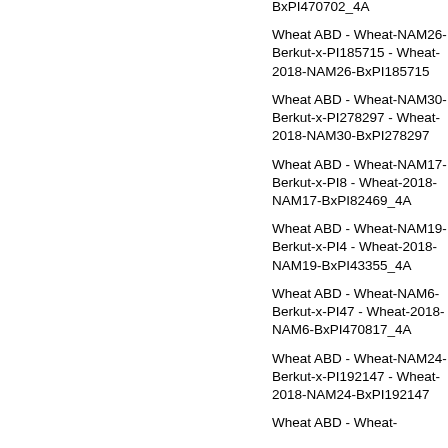BxPI470702_4A
Wheat ABD - Wheat-NAM26-Berkut-x-PI185715 - Wheat-2018-NAM26-BxPI185715
Wheat ABD - Wheat-NAM30-Berkut-x-PI278297 - Wheat-2018-NAM30-BxPI278297
Wheat ABD - Wheat-NAM17-Berkut-x-PI8 - Wheat-2018-NAM17-BxPI82469_4A
Wheat ABD - Wheat-NAM19-Berkut-x-PI4 - Wheat-2018-NAM19-BxPI43355_4A
Wheat ABD - Wheat-NAM6-Berkut-x-PI47 - Wheat-2018-NAM6-BxPI470817_4A
Wheat ABD - Wheat-NAM24-Berkut-x-PI192147 - Wheat-2018-NAM24-BxPI192147
Wheat ABD - Wheat-